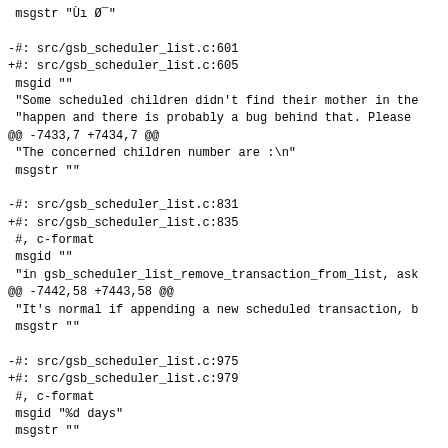msgstr "Ùı Ø¯"

-#: src/gsb_scheduler_list.c:601
+#: src/gsb_scheduler_list.c:605
 msgid ""
 "Some scheduled children didn't find their mother in the
 "happen and there is probably a bug behind that. Please
@@ -7433,7 +7434,7 @@
 "The concerned children number are :\n"
 msgstr ""

-#: src/gsb_scheduler_list.c:831
+#: src/gsb_scheduler_list.c:835
 #, c-format
 msgid ""
 "in gsb_scheduler_list_remove_transaction_from_list, ask
@@ -7442,58 +7443,58 @@
 "It's normal if appending a new scheduled transaction, b
 msgstr ""

-#: src/gsb_scheduler_list.c:975
+#: src/gsb_scheduler_list.c:979
 #, c-format
 msgid "%d days"
 msgstr ""

-#: src/gsb_scheduler_list.c:980
+#: src/gsb_scheduler_list.c:984
 #, c-format
 msgid "%d months"